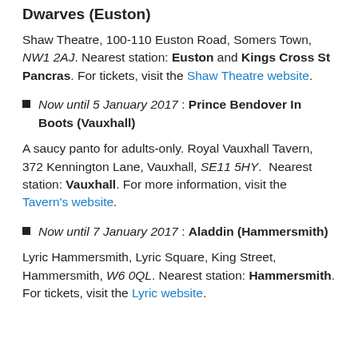Dwarves (Euston)
Shaw Theatre, 100-110 Euston Road, Somers Town, NW1 2AJ. Nearest station: Euston and Kings Cross St Pancras. For tickets, visit the Shaw Theatre website.
Now until 5 January 2017 : Prince Bendover In Boots (Vauxhall)
A saucy panto for adults-only. Royal Vauxhall Tavern, 372 Kennington Lane, Vauxhall, SE11 5HY. Nearest station: Vauxhall. For more information, visit the Tavern's website.
Now until 7 January 2017 : Aladdin (Hammersmith)
Lyric Hammersmith, Lyric Square, King Street, Hammersmith, W6 0QL. Nearest station: Hammersmith. For tickets, visit the Lyric website.